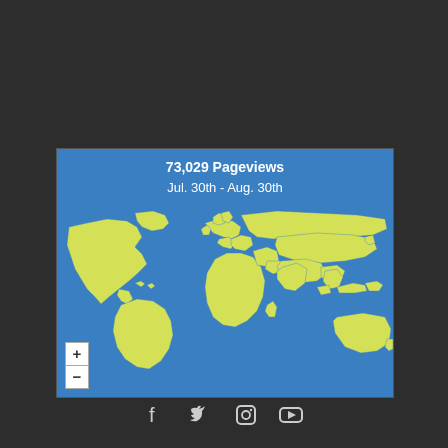[Figure (map): World map showing pageview distribution from Jul. 30th to Aug. 30th. Blue ocean background with yellow-green landmasses. Shows 73,029 Pageviews. Includes zoom +/- controls in the bottom-left corner.]
73,029 Pageviews
Jul. 30th - Aug. 30th
[Figure (infographic): Social media icons row: Facebook, Twitter, Instagram, YouTube]